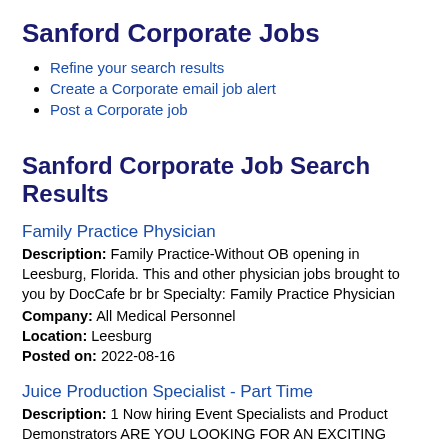Sanford Corporate Jobs
Refine your search results
Create a Corporate email job alert
Post a Corporate job
Sanford Corporate Job Search Results
Family Practice Physician
Description: Family Practice-Without OB opening in Leesburg, Florida. This and other physician jobs brought to you by DocCafe br br Specialty: Family Practice Physician Company: All Medical Personnel Location: Leesburg Posted on: 2022-08-16
Juice Production Specialist - Part Time
Description: 1 Now hiring Event Specialists and Product Demonstrators ARE YOU LOOKING FOR AN EXCITING PART-TIME OPPORTUNITY - We offer a flexible schedule and competitive weekly pay -This role acts as the brand (more...) Company: CROSSMARK Location: Lady Lake